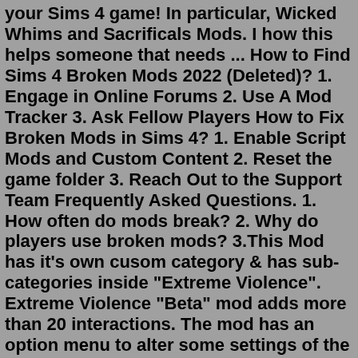your Sims 4 game! In particular, Wicked Whims and Sacrificals Mods. I how this helps someone that needs ... How to Find Sims 4 Broken Mods 2022 (Deleted)? 1. Engage in Online Forums 2. Use A Mod Tracker 3. Ask Fellow Players How to Fix Broken Mods in Sims 4? 1. Enable Script Mods and Custom Content 2. Reset the game folder 3. Reach Out to the Support Team Frequently Asked Questions. 1. How often do mods break? 2. Why do players use broken mods? 3.This Mod has it's own cusom category & has sub-categories inside "Extreme Violence". Extreme Violence "Beta" mod adds more than 20 interactions. The mod has an option menu to alter some settings of the mod. This mod adds A LOT of new "Buffs" linked to each interaction. This mod contains new custom animations.This is a tutorial on how to download ZIP files into your Sims 4 game! In particular, Wicked Whims and Sacrificals Mods. I how this helps someone that needs ... The Sims 4 Mod APK - offers you an opportunity to give your Sim the look and feel that you have always wanted. You can change their